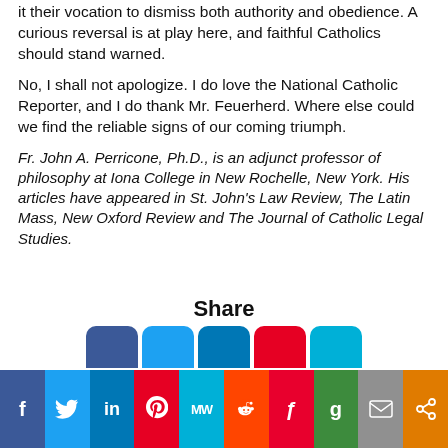it their vocation to dismiss both authority and obedience. A curious reversal is at play here, and faithful Catholics should stand warned.
No, I shall not apologize. I do love the National Catholic Reporter, and I do thank Mr. Feuerherd. Where else could we find the reliable signs of our coming triumph.
Fr. John A. Perricone, Ph.D., is an adjunct professor of philosophy at Iona College in New Rochelle, New York. His articles have appeared in St. John's Law Review, The Latin Mass, New Oxford Review and The Journal of Catholic Legal Studies.
Share
[Figure (infographic): Social media share buttons bar: Facebook, Twitter, LinkedIn, Pinterest, MeWe, Reddit, Flipboard, Goodreads, Email, Share icons]